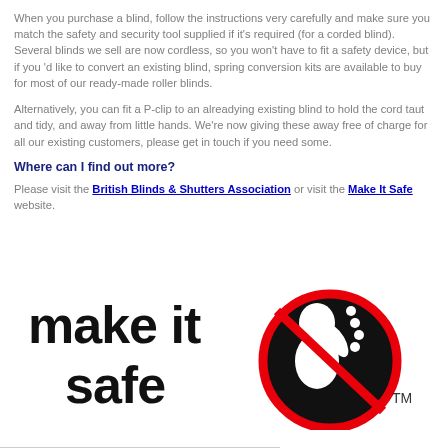When you purchase a blind, follow the instructions very carefully and make sure you match the safety and security tool supplied if it's required (for a corded blind). Several blinds we sell are now cordless, so you won't have to fit a safety device, but if you 'd like to convert an existing blind, spring conversion kits are available to buy for most of our ready-made roller blinds.
Alternatively, you can fit a P-clip to an alreadying existing blind to hold the cord taut and tidy, and away from little hands. We're now giving these away free of charge for all our existing customers, please get in touch if you need some.
Where can I find out more?
Please visit the British Blinds & Shutters Association or visit the Make It Safe website.
[Figure (logo): Make It Safe logo with bold black text 'make it safe' and a red circle-slash symbol over a child's hand reaching for a cord]